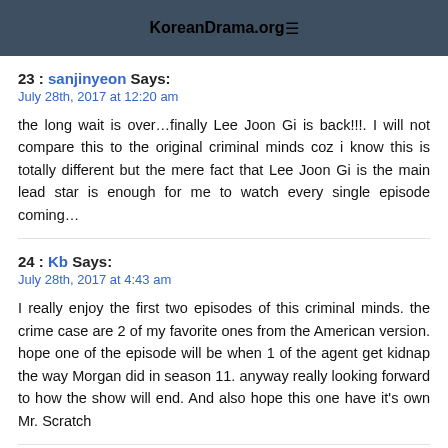KoreanDrama.org
23 : sanjinyeon Says:
July 28th, 2017 at 12:20 am

the long wait is over…finally Lee Joon Gi is back!!!. I will not compare this to the original criminal minds coz i know this is totally different but the mere fact that Lee Joon Gi is the main lead star is enough for me to watch every single episode coming…
24 : Kb Says:
July 28th, 2017 at 4:43 am

I really enjoy the first two episodes of this criminal minds. the crime case are 2 of my favorite ones from the American version. hope one of the episode will be when 1 of the agent get kidnap the way Morgan did in season 11. anyway really looking forward to how the show will end. And also hope this one have it's own Mr. Scratch
25 : Lazda Says: